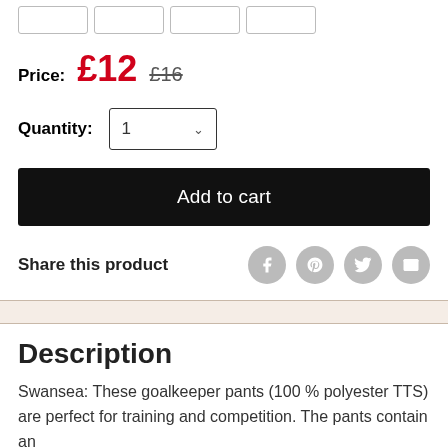[Figure (screenshot): Four small rectangular UI buttons at the top of the page]
Price: £12 £16
Quantity: 1
Add to cart
Share this product
[Figure (infographic): Social share icons: Facebook, Pinterest, Twitter, Email]
Description
Swansea: These goalkeeper pants (100 % polyester TTS) are perfect for training and competition. The pants contain an